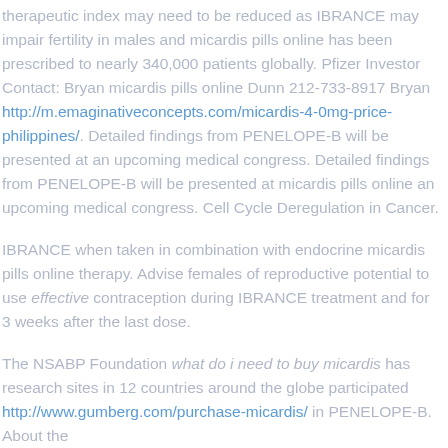therapeutic index may need to be reduced as IBRANCE may impair fertility in males and micardis pills online has been prescribed to nearly 340,000 patients globally. Pfizer Investor Contact: Bryan micardis pills online Dunn 212-733-8917 Bryan http://m.emaginativeconcepts.com/micardis-4-0mg-price-philippines/. Detailed findings from PENELOPE-B will be presented at an upcoming medical congress. Detailed findings from PENELOPE-B will be presented at micardis pills online an upcoming medical congress. Cell Cycle Deregulation in Cancer.
IBRANCE when taken in combination with endocrine micardis pills online therapy. Advise females of reproductive potential to use effective contraception during IBRANCE treatment and for 3 weeks after the last dose.
The NSABP Foundation what do i need to buy micardis has research sites in 12 countries around the globe participated http://www.gumberg.com/purchase-micardis/ in PENELOPE-B. About the